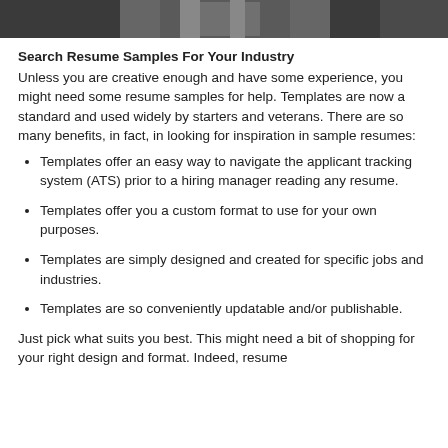[Figure (photo): Partial photo strip at top of page showing a dark/grayscale image, partially cropped]
Search Resume Samples For Your Industry
Unless you are creative enough and have some experience, you might need some resume samples for help. Templates are now a standard and used widely by starters and veterans. There are so many benefits, in fact, in looking for inspiration in sample resumes:
Templates offer an easy way to navigate the applicant tracking system (ATS) prior to a hiring manager reading any resume.
Templates offer you a custom format to use for your own purposes.
Templates are simply designed and created for specific jobs and industries.
Templates are so conveniently updatable and/or publishable.
Just pick what suits you best. This might need a bit of shopping for your right design and format. Indeed, resume